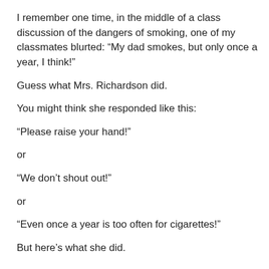I remember one time, in the middle of a class discussion of the dangers of smoking, one of my classmates blurted: “My dad smokes, but only once a year, I think!”
Guess what Mrs. Richardson did.
You might think she responded like this:
“Please raise your hand!”
or
“We don’t shout out!”
or
“Even once a year is too often for cigarettes!”
But here’s what she did.